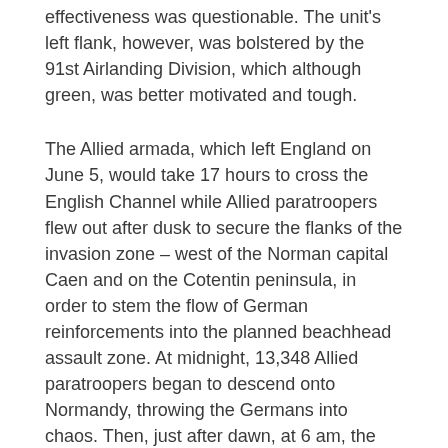effectiveness was questionable. The unit's left flank, however, was bolstered by the 91st Airlanding Division, which although green, was better motivated and tough.
The Allied armada, which left England on June 5, would take 17 hours to cross the English Channel while Allied paratroopers flew out after dusk to secure the flanks of the invasion zone – west of the Norman capital Caen and on the Cotentin peninsula, in order to stem the flow of German reinforcements into the planned beachhead assault zone. At midnight, 13,348 Allied paratroopers began to descend onto Normandy, throwing the Germans into chaos. Then, just after dawn, at 6 am, the Allied invasion fleet hove into view off the